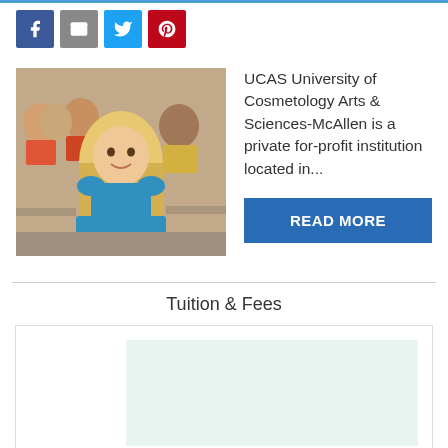[Figure (other): Social sharing buttons: Facebook (blue), Email (gray), Twitter (light blue), Pinterest (red)]
[Figure (photo): Classroom photo showing smiling students, a blonde woman in a blue top in the foreground, others behind her]
UCAS University of Cosmetology Arts & Sciences-McAllen is a private for-profit institution located in...
READ MORE
Tuition & Fees
[Figure (other): Chart area placeholder with light teal/mint background rectangle inside a bordered box]